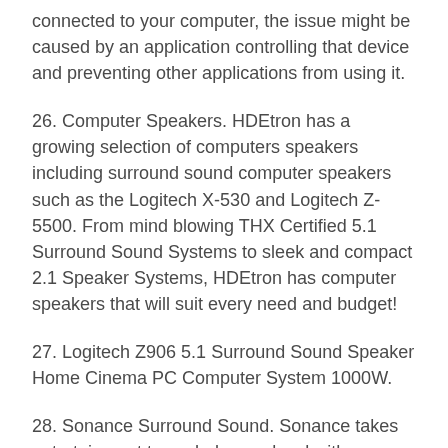connected to your computer, the issue might be caused by an application controlling that device and preventing other applications from using it.
26. Computer Speakers. HDEtron has a growing selection of computers speakers including surround sound computer speakers such as the Logitech X-530 and Logitech Z-5500. From mind blowing THX Certified 5.1 Surround Sound Systems to sleek and compact 2.1 Speaker Systems, HDEtron has computer speakers that will suit every need and budget!
27. Logitech Z906 5.1 Surround Sound Speaker Home Cinema PC Computer System 1000W.
28. Sonance Surround Sound. Sonance takes entertainment to a whole new level with a range of